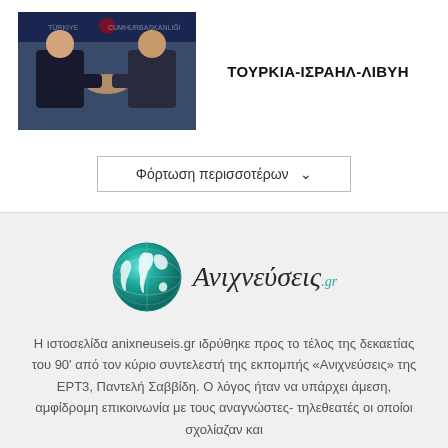[Figure (photo): Two men in suits shaking hands in front of a blue backdrop with Turkish emblems.]
ΤΟΥΡΚΙΑ-ΙΣΡΑΗΛ-ΛΙΒΥΗ
Φόρτωση περισσοτέρων ˅
[Figure (logo): Anixneuseis.gr logo with globe icon and Greek italic text]
Η ιστοσελίδα anixneuseis.gr ιδρύθηκε προς το τέλος της δεκαετίας του 90' από τον κύριο συντελεστή της εκπομπής «Ανιχνεύσεις» της ΕΡΤ3, Παντελή Σαββίδη. Ο λόγος ήταν να υπάρχει άμεση, αμφίδρομη επικοινωνία με τους αναγνώστες- τηλεθεατές οι οποίοι σχολίαζαν και